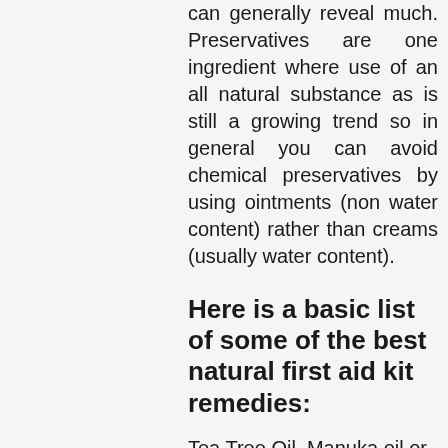can generally reveal much. Preservatives are one ingredient where use of an all natural substance as is still a growing trend so in general you can avoid chemical preservatives by using ointments (non water content) rather than creams (usually water content).
Here is a basic list of some of the best natural first aid kit remedies:
Tea Tree Oil, Manuka oil or